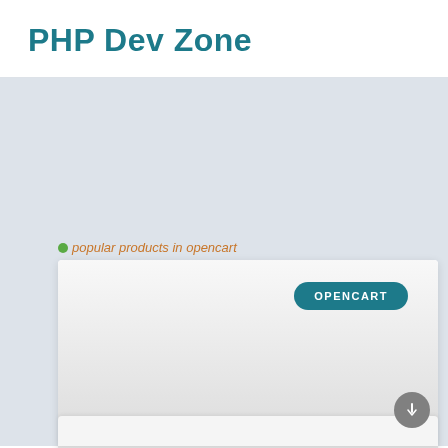PHP Dev Zone
[Figure (screenshot): Screenshot of a webpage showing a card with 'popular products in opencart' link text and an OPENCART teal badge button, on a light grey background. A grey circular scroll button is visible at the bottom right.]